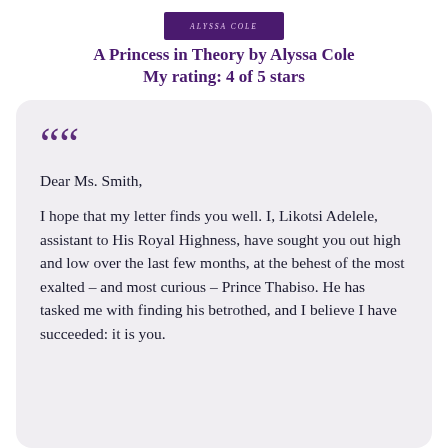[Figure (illustration): Book cover banner for Alyssa Cole with purple background and stylized author name text]
A Princess in Theory by Alyssa Cole
My rating: 4 of 5 stars
Dear Ms. Smith,

I hope that my letter finds you well. I, Likotsi Adelele, assistant to His Royal Highness, have sought you out high and low over the last few months, at the behest of the most exalted – and most curious – Prince Thabiso. He has tasked me with finding his betrothed, and I believe I have succeeded: it is you.